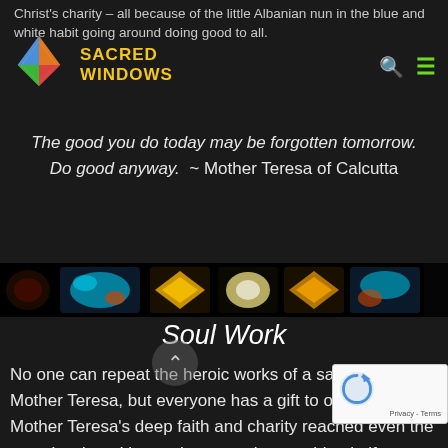Christ's charity – all because of the little Albanian nun in the blue and white habit going around doing good to all.
[Figure (logo): Sacred Windows logo with colorful diamond/kite shaped stained-glass icon and yellow text 'SACRED WINDOWS']
The good you do today may be forgotten tomorrow. Do good anyway. ~ Mother Teresa of Calcutta
[Figure (photo): Horizontal strip of stained glass window images on black background]
Soul Work
No one can repeat the heroic works of a saint like Mother Teresa, but everyone has a gift to offer the world. Mother Teresa's deep faith and charity reached even the most hardened hearts because these spiritual gifts always bring light...